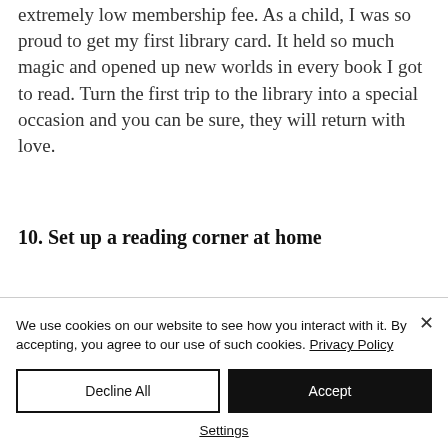extremely low membership fee. As a child, I was so proud to get my first library card. It held so much magic and opened up new worlds in every book I got to read. Turn the first trip to the library into a special occasion and you can be sure, they will return with love.
10. Set up a reading corner at home
We use cookies on our website to see how you interact with it. By accepting, you agree to our use of such cookies. Privacy Policy
Decline All
Accept
Settings